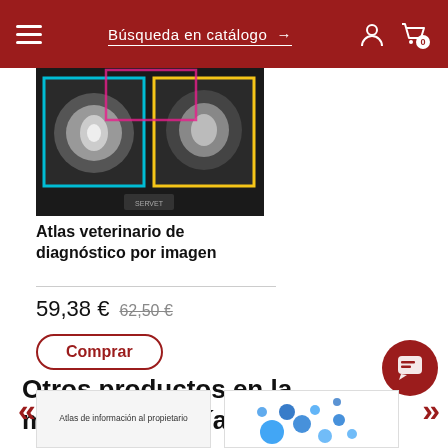≡  Búsqueda en catálogo →  👤  🛒 0
[Figure (photo): Book cover of Atlas veterinario de diagnóstico por imagen showing veterinary diagnostic imaging scans with colored bounding boxes overlaid on MRI cross-sections of animals]
Atlas veterinario de diagnóstico por imagen
59,38 € 62,50 €
Comprar
Otros productos en la misma categoría
[Figure (photo): Thumbnail of a book titled Atlas de información al propietario]
[Figure (photo): Thumbnail showing blue dots/particles illustration]